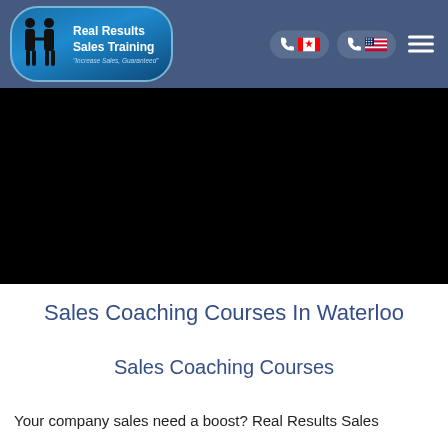Real Results Sales Training
[Figure (screenshot): Dark hero image banner, mostly black]
Sales Coaching Courses In Waterloo
Sales Coaching Courses
Your company sales need a boost? Real Results Sales